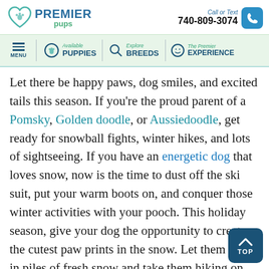Premier Pups | Call or Text 740-809-3074
MENU | Available PUPPIES | Explore BREEDS | The Premier EXPERIENCE
Let there be happy paws, dog smiles, and excited tails this season. If you're the proud parent of a Pomsky, Golden doodle, or Aussiedoodle, get ready for snowball fights, winter hikes, and lots of sightseeing. If you have an energetic dog that loves snow, now is the time to dust off the ski suit, put your warm boots on, and conquer those winter activities with your pooch. This holiday season, give your dog the opportunity to create the cutest paw prints in the snow. Let them dive in piles of fresh snow and take them hiking on the best you know. Entice them in a friendly chase and